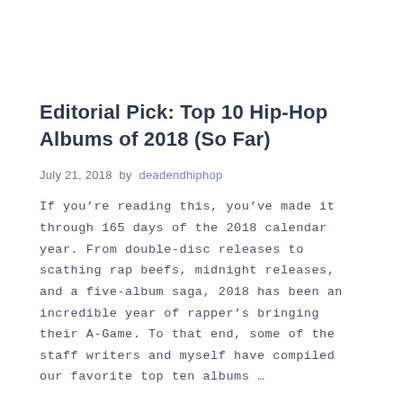Editorial Pick: Top 10 Hip-Hop Albums of 2018 (So Far)
July 21, 2018 by deadendhiphop
If you’re reading this, you’ve made it through 165 days of the 2018 calendar year. From double-disc releases to scathing rap beefs, midnight releases, and a five-album saga, 2018 has been an incredible year of rapper’s bringing their A-Game. To that end, some of the staff writers and myself have compiled our favorite top ten albums …
Read More